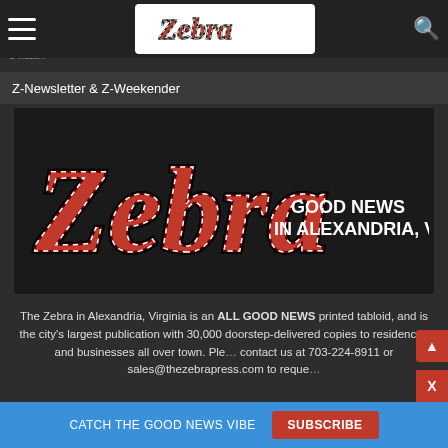Zebra — Good News in Alexandria, VA
Z-Newsletter & Z-Weekender
[Figure (logo): Zebra logo with zebra-stripe lettering in red, black and white, with text 'GOOD NEWS IN ALEXANDRIA, VA' to the right, on a dark background]
The Zebra in Alexandria, Virginia is an ALL GOOD NEWS printed tabloid, and is the city's largest publication with 30,000 doorstep-delivered copies to residences and businesses all over town. Please contact us at 703-224-8911 or sales@thezebrapress.com to reque…
CATCH THE GOOD NEWS VIBE   SUBSCRIBE